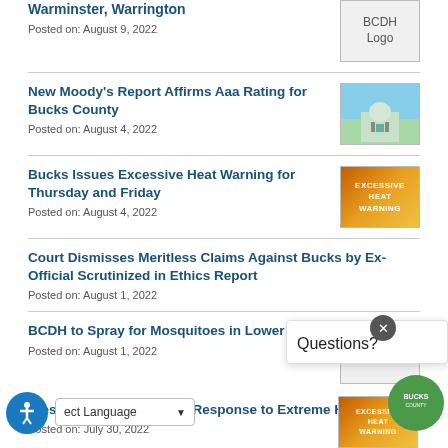Warminster, Warrington
Posted on: August 9, 2022
New Moody's Report Affirms Aaa Rating for Bucks County
Posted on: August 4, 2022
Bucks Issues Excessive Heat Warning for Thursday and Friday
Posted on: August 4, 2022
Court Dismisses Meritless Claims Against Bucks by Ex-Official Scrutinized in Ethics Report
Posted on: August 1, 2022
BCDH to Spray for Mosquitoes in Lower Bucks
Posted on: August 1, 2022
...essive Heat Warning in Response to Extreme Heat
Posted on: July 30, 2022